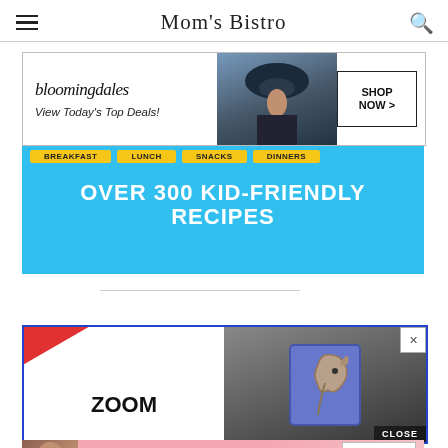Mom's Bistro
[Figure (screenshot): Bloomingdale's advertisement banner: bloomingdales logo, 'View Today's Top Deals!' text, model with hat, and 'SHOP NOW >' button]
[Figure (screenshot): Mom's Bistro recipe banner with categories BREAKFAST, LUNCH, SNACKS, DINNERS and text 'OVER 300 KID-FRIENDLY RECIPES' on blue background]
[Figure (screenshot): BID TO WIN ad with red ribbon and ZOOM text on left, blue border, close button, horse sculpture on right]
[Figure (screenshot): Victoria's Secret ad: model photo, VS logo, 'SHOP THE COLLECTION' text, 'SHOP NOW' button on pink background]